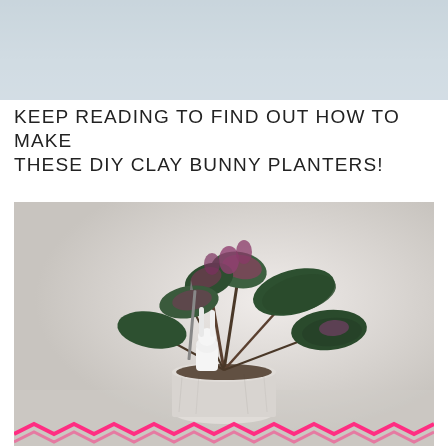[Figure (photo): Partial top photograph showing a light gray-blue blurred background, cropped — appears to be top portion of a plant/bunny planter photo]
KEEP READING TO FIND OUT HOW TO MAKE THESE DIY CLAY BUNNY PLANTERS!
[Figure (photo): A clay bunny planter pot with a succulent plant with dark green and purple leaves growing out of it. The white clay pot has bunny ear decorations and a small white bunny body shape attached. A pink zigzag ribbon or trim is visible at the bottom of the image. The background is a light gray/beige surface.]